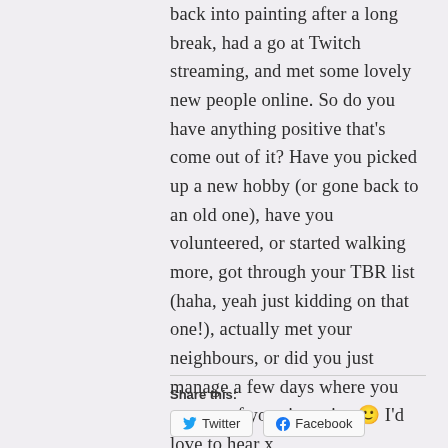back into painting after a long break, had a go at Twitch streaming, and met some lovely new people online. So do you have anything positive that's come out of it? Have you picked up a new hobby (or gone back to an old one), have you volunteered, or started walking more, got through your TBR list (haha, yeah just kidding on that one!), actually met your neighbours, or did you just manage a few days where you got out of your jammies 🙂 I'd love to hear x
Share this:
Twitter | Facebook